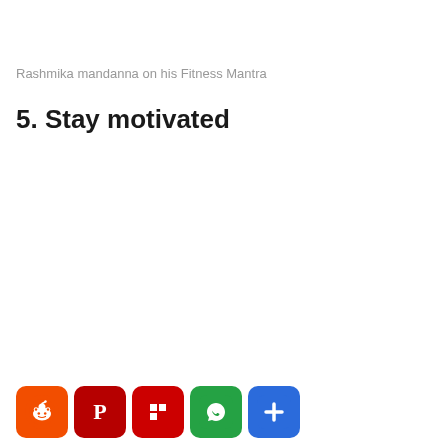Rashmika mandanna on his Fitness Mantra
5. Stay motivated
Share buttons: Reddit, Pinterest, Flipboard, WhatsApp, More